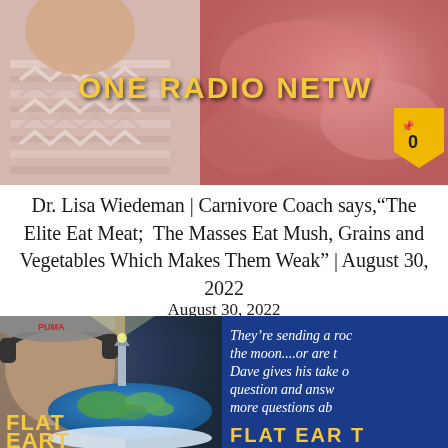[Figure (photo): Top banner with One Radio Network logo/header showing a child in striped clothing on the left and raw meat on the right, with yellow text 'ONE RADIO NETW...' and a gold pin badge with '0']
Dr. Lisa Wiedeman | Carnivore Coach says,“The Elite Eat Meat;  The Masses Eat Mush, Grains and Vegetables Which Makes Them Weak” | August 30, 2022
August 30, 2022
[Figure (photo): Bottom banner split: left side shows a man with headphones against dark background with flat earth globe image and 'FLAT EARTH' text in yellow; right side is blue background with italic white text 'They’re sending a roc... the moon....or are t... Dave gives his take o... question and answ... more questions ab...' and 'FLAT EART' in yellow at bottom]